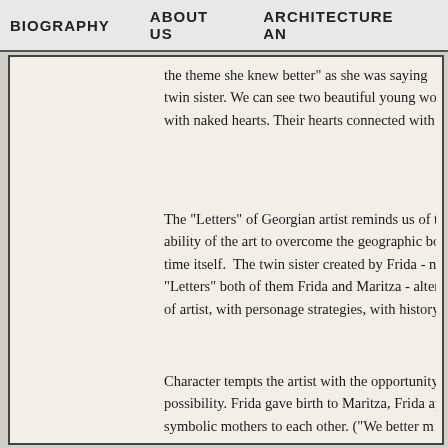BIOGRAPHY    ABOUT US    ARCHITECTURE AN
the theme she knew better" as she was saying twin sister. We can see two beautiful young wo with naked hearts. Their hearts connected with
The "Letters" of Georgian artist reminds us of t ability of the art to overcome the geographic bo time itself.  The twin sister created by Frida - n "Letters" both of them Frida and Maritza - alter of artist, with personage strategies, with history
Character tempts the artist with the opportunity possibility. Frida gave birth to Maritza, Frida ap symbolic mothers to each other. ("We better m mother, certainly, if you do not mind... ") In ten